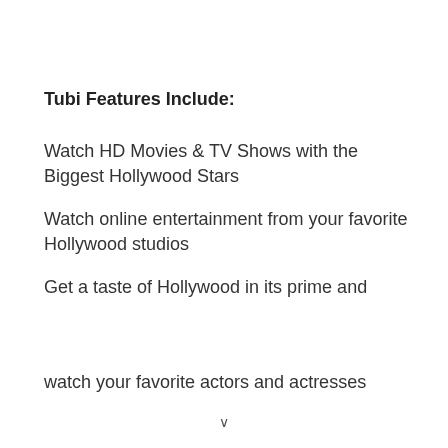Tubi Features Include:
Watch HD Movies & TV Shows with the Biggest Hollywood Stars
Watch online entertainment from your favorite Hollywood studios
Get a taste of Hollywood in its prime and watch your favorite actors and actresses